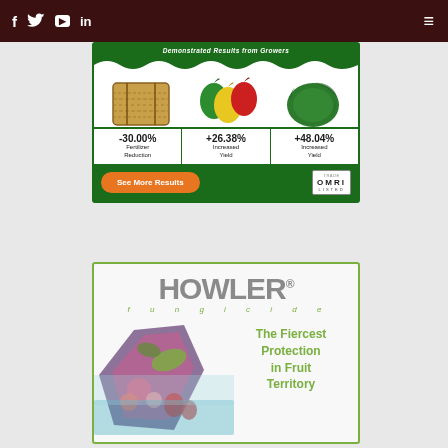f  Twitter  YouTube  in  ☰
[Figure (infographic): Green fertilizer ad banner showing hay bale (-30.00% Fertilizer Reduction), bell peppers (+26.38% Increased Yield), watermelon (+48.04% Increased Yield), See More Results button, OMRI Listed logo]
[Figure (infographic): Howler fungicide ad banner with logo, stylized product imagery, and text reading 'The Fiercest Protection in Fruit Territory']